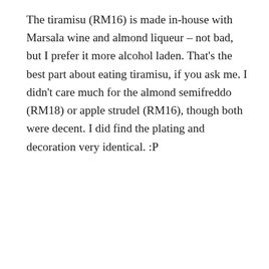The tiramisu (RM16) is made in-house with Marsala wine and almond liqueur – not bad, but I prefer it more alcohol laden. That's the best part about eating tiramisu, if you ask me. I didn't care much for the almond semifreddo (RM18) or apple strudel (RM16), though both were decent. I did find the plating and decoration very identical. :P